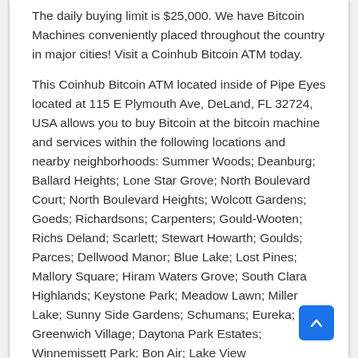The daily buying limit is $25,000. We have Bitcoin Machines conveniently placed throughout the country in major cities! Visit a Coinhub Bitcoin ATM today.
This Coinhub Bitcoin ATM located inside of Pipe Eyes located at 115 E Plymouth Ave, DeLand, FL 32724, USA allows you to buy Bitcoin at the bitcoin machine and services within the following locations and nearby neighborhoods: Summer Woods; Deanburg; Ballard Heights; Lone Star Grove; North Boulevard Court; North Boulevard Heights; Wolcott Gardens; Goeds; Richardsons; Carpenters; Gould-Wooten; Richs Deland; Scarlett; Stewart Howarth; Goulds; Parces; Dellwood Manor; Blue Lake; Lost Pines; Mallory Square; Hiram Waters Grove; South Clara Highlands; Keystone Park; Meadow Lawn; Miller Lake; Sunny Side Gardens; Schumans; Eureka; Greenwich Village; Daytona Park Estates; Winnemissett Park; Bon Air; Lake View